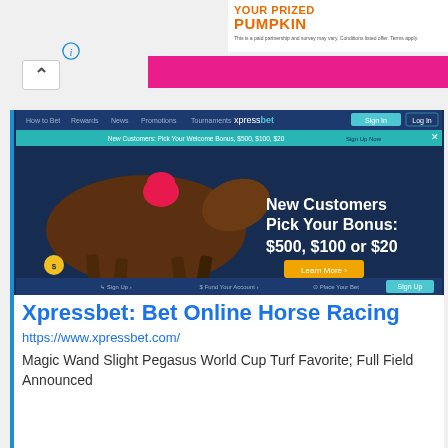[Figure (screenshot): Partial ad banner with pink background and pumpkin promotion (YOUR PRIZED PUMPKIN) in orange text on white]
[Figure (screenshot): Screenshot of xpressbet.com website showing 'New Customers Pick Your Bonus: $500, $100 or $20' with a jockey on a horse racing image on dark blue background]
Xpressbet: Bet Online Horse Racing
https://www.xpressbet.com/
Magic Wand Slight Pegasus World Cup Turf Favorite; Full Field Announced